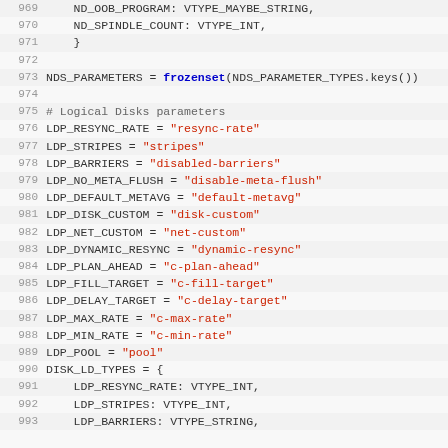Source code listing lines 969-993, Python constants for NDS and LDP parameters